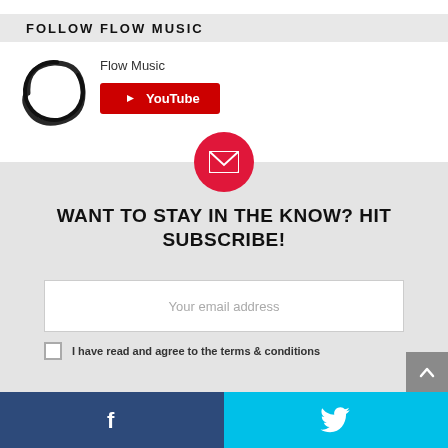FOLLOW FLOW MUSIC
Flow Music
[Figure (logo): Flow Music circular brush-stroke logo (enso-style) in black ink]
[Figure (other): YouTube subscribe button in red with white play icon and text 'YouTube']
WANT TO STAY IN THE KNOW? HIT SUBSCRIBE!
Your email address
I have read and agree to the terms & conditions
[Figure (other): Facebook share button (dark blue with white f icon)]
[Figure (other): Twitter share button (cyan with white bird icon)]